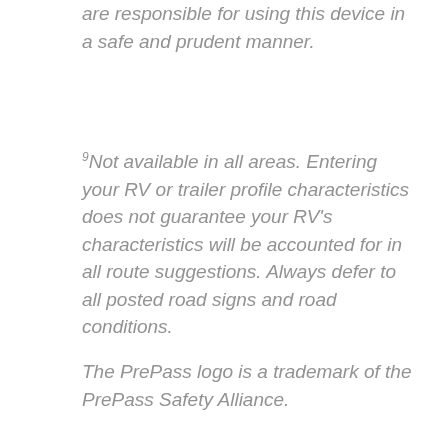are responsible for using this device in a safe and prudent manner.
9Not available in all areas. Entering your RV or trailer profile characteristics does not guarantee your RV's characteristics will be accounted for in all route suggestions. Always defer to all posted road signs and road conditions.
The PrePass logo is a trademark of the PrePass Safety Alliance.